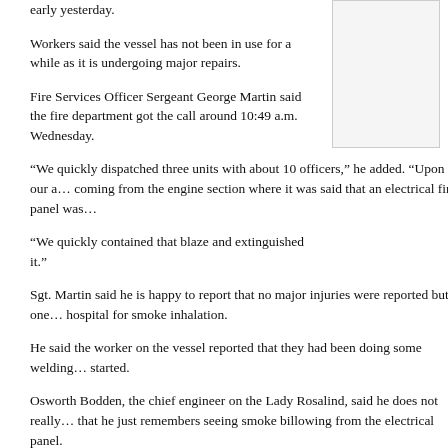early yesterday.
Workers said the vessel has not been in use for a while as it is undergoing major repairs.
Fire Services Officer Sergeant George Martin said the fire department got the call around 10:49 a.m. Wednesday.
“We quickly dispatched three units with about 10 officers,” he added. “Upon our a… coming from the engine section where it was said that an electrical fire panel was…
“We quickly contained that blaze and extinguished it.”
Sgt. Martin said he is happy to report that no major injuries were reported but one… hospital for smoke inhalation.
He said the worker on the vessel reported that they had been doing some welding… started.
Osworth Bodden, the chief engineer on the Lady Rosalind, said he does not really… that he just remembers seeing smoke billowing from the electrical panel.
“Three of us went down there at one point and we had just left about two minutes… “And when I looked back I saw the smoke coming through.”
“When I ran back to go in there I couldn’t get in because it was too much smoke.… a fire extinguisher. When I got back down there I realised that the electrical panel…